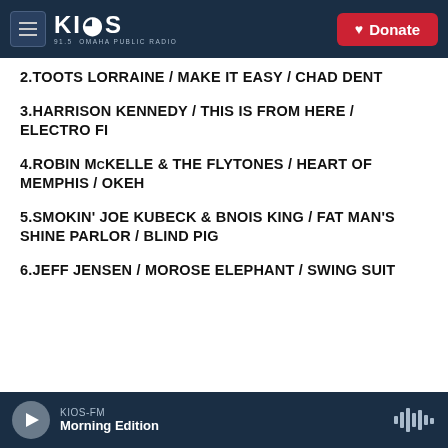KIOS 91.5 OMAHA PUBLIC RADIO | Donate
2.TOOTS LORRAINE / MAKE IT EASY / CHAD DENT
3.HARRISON KENNEDY / THIS IS FROM HERE / ELECTRO FI
4.ROBIN McKELLE & THE FLYTONES / HEART OF MEMPHIS / OKEH
5.SMOKIN' JOE KUBECK & BNOIS KING / FAT MAN'S SHINE PARLOR / BLIND PIG
6.JEFF JENSEN / MOROSE ELEPHANT / SWING SUIT
KIOS-FM Morning Edition